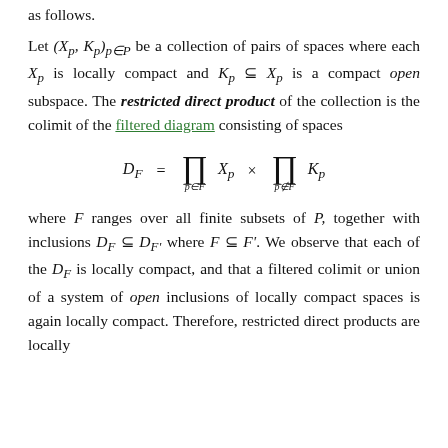as follows.
Let (X_p, K_p)_{p∈P} be a collection of pairs of spaces where each X_p is locally compact and K_p ⊆ X_p is a compact open subspace. The restricted direct product of the collection is the colimit of the filtered diagram consisting of spaces
where F ranges over all finite subsets of P, together with inclusions D_F ⊆ D_{F'} where F ⊆ F'. We observe that each of the D_F is locally compact, and that a filtered colimit or union of a system of open inclusions of locally compact spaces is again locally compact. Therefore, restricted direct products are locally